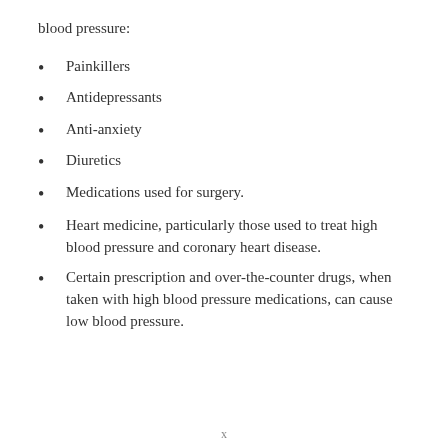blood pressure:
Painkillers
Antidepressants
Anti-anxiety
Diuretics
Medications used for surgery.
Heart medicine, particularly those used to treat high blood pressure and coronary heart disease.
Certain prescription and over-the-counter drugs, when taken with high blood pressure medications, can cause low blood pressure.
x